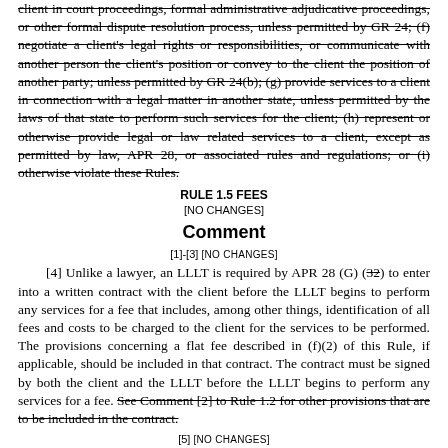client in court proceedings, formal administrative adjudicative proceedings, or other formal dispute resolution process, unless permitted by GR 24; (f) negotiate a client's legal rights or responsibilities, or communicate with another person the client's position or convey to the client the position of another party; unless permitted by GR 24(b); (g) provide services to a client in connection with a legal matter in another state, unless permitted by the laws of that state to perform such services for the client; (h) represent or otherwise provide legal or law related services to a client, except as permitted by law, APR 28, or associated rules and regulations; or (i) otherwise violate these Rules. [strikethrough throughout]
RULE 1.5 FEES
[NO CHANGES]
Comment
[1]-[3] [NO CHANGES]
[4] Unlike a lawyer, an LLLT is required by APR 28 (G) (32) to enter into a written contract with the client before the LLLT begins to perform any services for a fee that includes, among other things, identification of all fees and costs to be charged to the client for the services to be performed. The provisions concerning a flat fee described in (f)(2) of this Rule, if applicable, should be included in that contract. The contract must be signed by both the client and the LLLT before the LLLT begins to perform any services for a fee. See Comment [2] to Rule 1.2 for other provisions that are to be included in the contract. [partial strikethrough on last two sentences]
[5] [NO CHANGES]